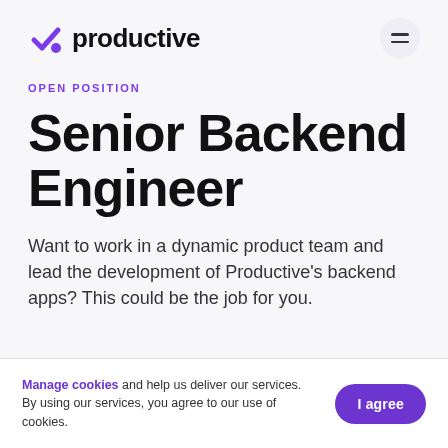productive
OPEN POSITION
Senior Backend Engineer
Want to work in a dynamic product team and lead the development of Productive's backend apps? This could be the job for you.
Manage cookies and help us deliver our services. By using our services, you agree to our use of cookies.